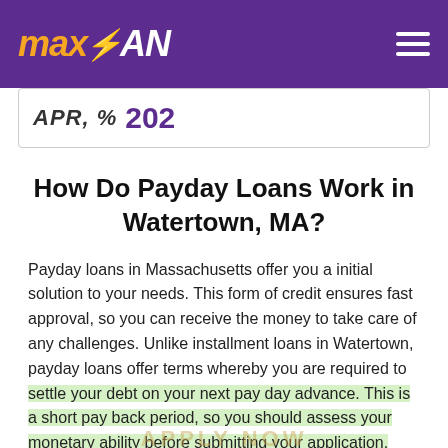MAXLOAN
APR, % 202
How Do Payday Loans Work in Watertown, MA?
Payday loans in Massachusetts offer you a initial solution to your needs. This form of credit ensures fast approval, so you can receive the money to take care of any challenges. Unlike installment loans in Watertown, payday loans offer terms whereby you are required to settle your debt on your next pay day advance. This is a short pay back period, so you should assess your monetary ability before submitting your application. Failure to settle on the agreed time will attract penalties,